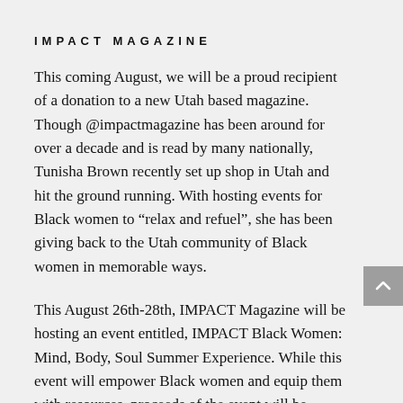IMPACT MAGAZINE
This coming August, we will be a proud recipient of a donation to a new Utah based magazine. Though @impactmagazine has been around for over a decade and is read by many nationally, Tunisha Brown recently set up shop in Utah and hit the ground running. With hosting events for Black women to “relax and refuel”, she has been giving back to the Utah community of Black women in memorable ways.
This August 26th-28th, IMPACT Magazine will be hosting an event entitled, IMPACT Black Women: Mind, Body, Soul Summer Experience. While this event will empower Black women and equip them with resources, proceeds of the event will be donated to Curly Me! as well! We are grateful this event exists for Black women and